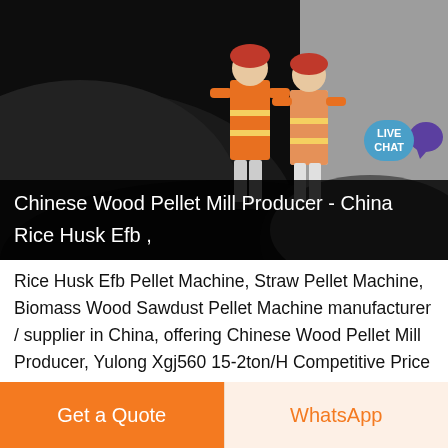[Figure (photo): Two workers in orange safety vests and red hard hats standing in front of a large pile of black coal/biomass material in an industrial setting. Dark background with some lighting.]
Chinese Wood Pellet Mill Producer - China Rice Husk Efb ,
Rice Husk Efb Pellet Machine, Straw Pellet Machine, Biomass Wood Sawdust Pellet Machine manufacturer / supplier in China, offering Chinese Wood Pellet Mill Producer, Yulong Xgj560 15-2ton/H Competitive Price China Wood Pellet Mill, Shandong Jinan Wood Pellet Machine with